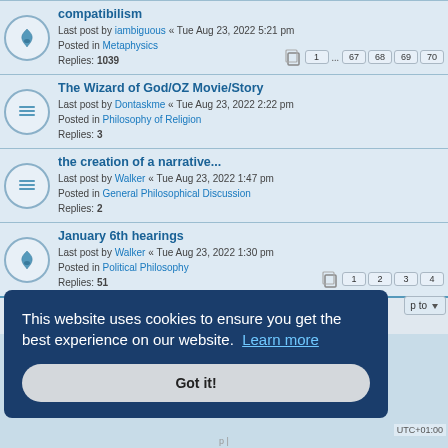compatibilism - Last post by iambiguous « Tue Aug 23, 2022 5:21 pm - Posted in Metaphysics - Replies: 1039 - Pages: 1 ... 67 68 69 70
The Wizard of God/OZ Movie/Story - Last post by Dontaskme « Tue Aug 23, 2022 2:22 pm - Posted in Philosophy of Religion - Replies: 3
the creation of a narrative... - Last post by Walker « Tue Aug 23, 2022 1:47 pm - Posted in General Philosophical Discussion - Replies: 2
January 6th hearings - Last post by Walker « Tue Aug 23, 2022 1:30 pm - Posted in Political Philosophy - Replies: 51 - Pages: 1 2 3 4
This website uses cookies to ensure you get the best experience on our website. Learn more
Got it!